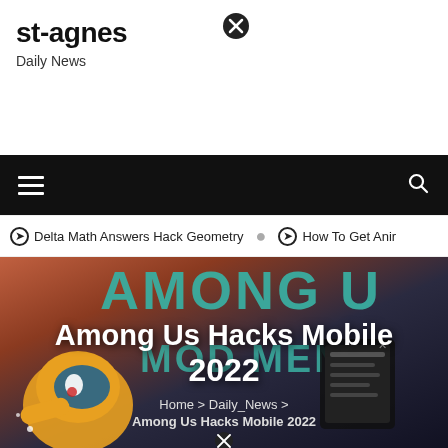st-agnes
Daily News
Delta Math Answers Hack Geometry   How To Get Anir
[Figure (illustration): Hero banner for 'Among Us Hacks Mobile 2022' article. Shows Among Us game characters and MOD MENU artwork with teal text on dark background. Overlay text reads 'Among Us Hacks Mobile 2022' in white bold font. Breadcrumb navigation: Home > Daily_News > Among Us Hacks Mobile 2022.]